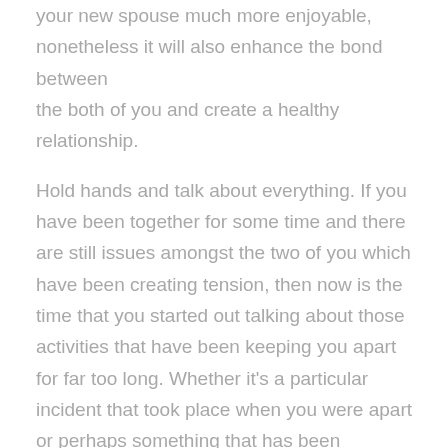your new spouse much more enjoyable, nonetheless it will also enhance the bond between the both of you and create a healthy relationship.
Hold hands and talk about everything. If you have been together for some time and there are still issues amongst the two of you which have been creating tension, then now is the time that you started out talking about those activities that have been keeping you apart for far too long. Whether it's a particular incident that took place when you were apart or perhaps something that has been occurring in your relationship for a actually long time, this is the time that you took it to the next level and that you desired to make items right in your way on the path to your new partner.
Work on the basic principles of your romance...